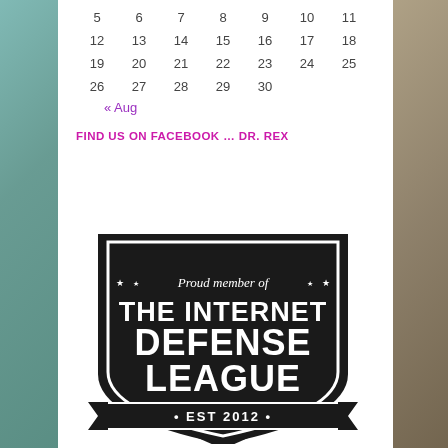| 5 | 6 | 7 | 8 | 9 | 10 | 11 |
| 12 | 13 | 14 | 15 | 16 | 17 | 18 |
| 19 | 20 | 21 | 22 | 23 | 24 | 25 |
| 26 | 27 | 28 | 29 | 30 |  |  |
« Aug
FIND US ON FACEBOOK … DR. REX
[Figure (logo): Internet Defense League badge — black shield shape with text: 'Proud member of THE INTERNET DEFENSE LEAGUE EST 2012']